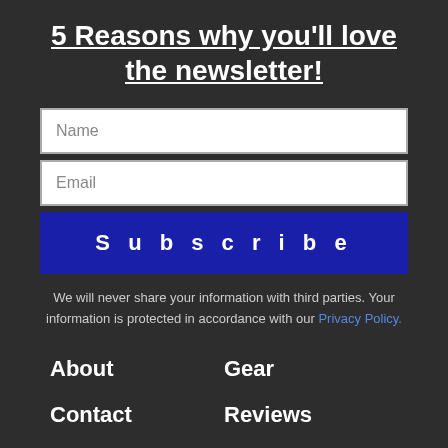5 Reasons why you'll love the newsletter!
Name
Email
Subscribe
We will never share your information with third parties. Your information is protected in accordance with our Privacy Policy.
About
Gear
Contact
Reviews
Latest
Packing
Blogs
Shipping